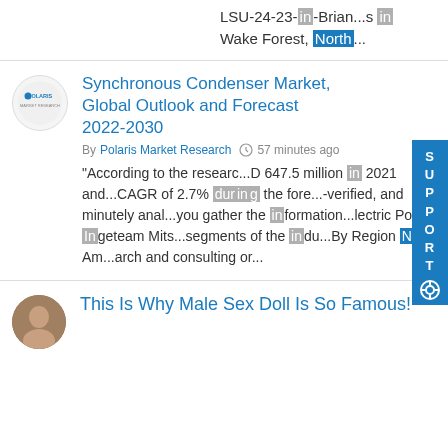LSU-24-23-in-Brian...s in Wake Forest, North...
Synchronous Condenser Market, Global Outlook and Forecast 2022-2030
By Polaris Market Research · 57 minutes ago
"According to the researc...D 647.5 million in 2021 and...CAGR of 2.7% during the fore...-verified, and minutely anal...you gather the information...lectric Power Ingeteam Mits...segments of the indu...By Region North Am...arch and consulting or...
This Is Why Male Sex Doll Is So Famous!